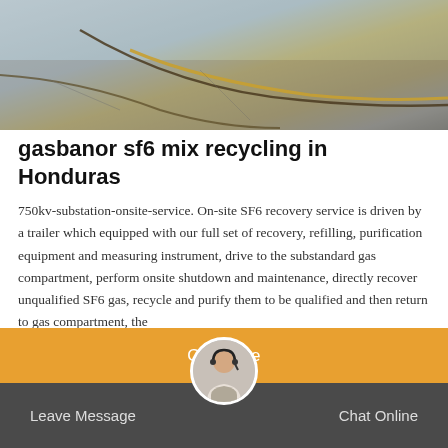[Figure (photo): Aerial or ground-level photo showing cables and pavement, related to substation or industrial site]
gasbanor sf6 mix recycling in Honduras
750kv-substation-onsite-service. On-site SF6 recovery service is driven by a trailer which equipped with our full set of recovery, refilling, purification equipment and measuring instrument, drive to the substandard gas compartment, perform onsite shutdown and maintenance, directly recover unqualified SF6 gas, recycle and purify them to be qualified and then return to gas compartment, the
Get Price | Leave Message | Chat Online